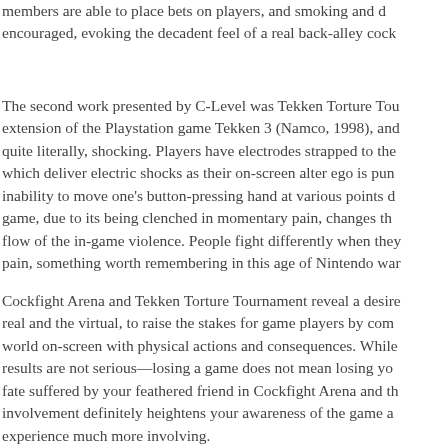members are able to place bets on players, and smoking and d encouraged, evoking the decadent feel of a real back-alley cock
The second work presented by C-Level was Tekken Torture Tou extension of the Playstation game Tekken 3 (Namco, 1998), and quite literally, shocking. Players have electrodes strapped to the which deliver electric shocks as their on-screen alter ego is pun inability to move one's button-pressing hand at various points d game, due to its being clenched in momentary pain, changes th flow of the in-game violence. People fight differently when they pain, something worth remembering in this age of Nintendo war
Cockfight Arena and Tekken Torture Tournament reveal a desire real and the virtual, to raise the stakes for game players by com world on-screen with physical actions and consequences. While results are not serious—losing a game does not mean losing yo fate suffered by your feathered friend in Cockfight Arena and th involvement definitely heightens your awareness of the game a experience much more involving.